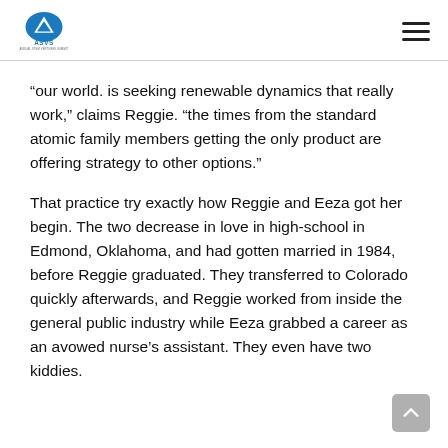ASVS
“our world. is seeking renewable dynamics that really work,” claims Reggie. “the times from the standard atomic family members getting the only product are offering strategy to other options.”
That practice try exactly how Reggie and Eeza got her begin. The two decrease in love in high-school in Edmond, Oklahoma, and had gotten married in 1984, before Reggie graduated. They transferred to Colorado quickly afterwards, and Reggie worked from inside the general public industry while Eeza grabbed a career as an avowed nurse’s assistant. They even have two kiddies.